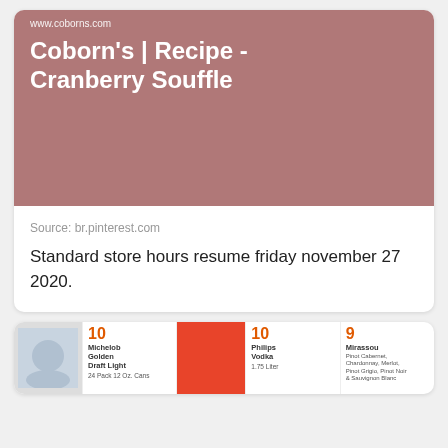[Figure (screenshot): Screenshot of Coborn's recipe page showing Cranberry Souffle on a mauve/dusty rose background with white text and website URL www.coborns.com]
Source: br.pinterest.com
Standard store hours resume friday november 27 2020.
[Figure (screenshot): Partial screenshot of a promotional card showing product deals including Michelob Golden Draft Light, Philips Vodka, and Mirassou wine with red price numbers]